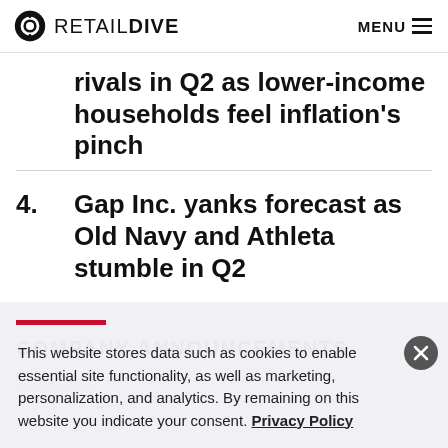RETAIL DIVE | MENU
rivals in Q2 as lower-income households feel inflation's pinch
4. Gap Inc. yanks forecast as Old Navy and Athleta stumble in Q2
COMPANY ANNOUNCEMENTS
This website stores data such as cookies to enable essential site functionality, as well as marketing, personalization, and analytics. By remaining on this website you indicate your consent. Privacy Policy